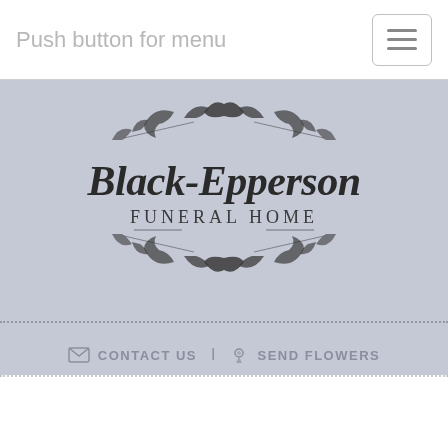Push button for menu
[Figure (logo): Black-Epperson Funeral Home logo with decorative scrollwork ornaments above and below the text on a gray-blue background, with CONTACT US and SEND FLOWERS links below]